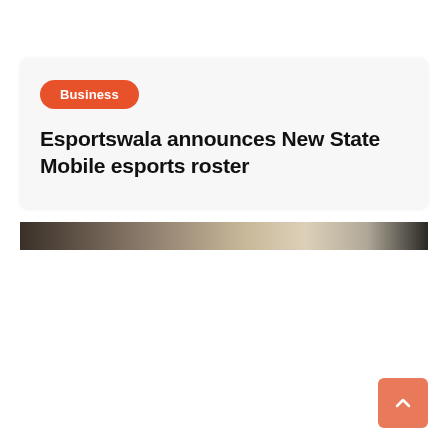Business
Esportswala announces New State Mobile esports roster
[Figure (photo): Partial view of a photo strip showing what appears to be esports or gaming related imagery in dark and tan tones]
[Figure (other): Scroll-to-top button with an upward-pointing chevron arrow on orange/salmon background]